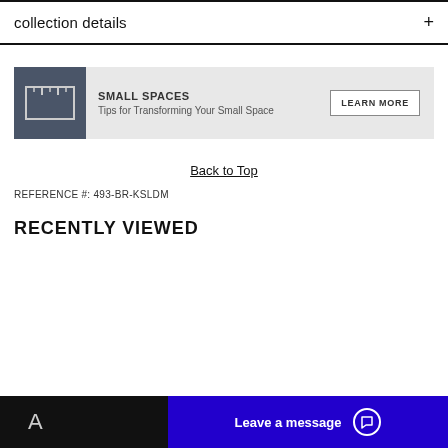collection details +
[Figure (infographic): Small Spaces promotional banner with ruler icon, title 'SMALL SPACES', subtitle 'Tips for Transforming Your Small Space', and a 'LEARN MORE' button]
Back to Top
REFERENCE #: 493-BR-KSLDM
RECENTLY VIEWED
Leave a message